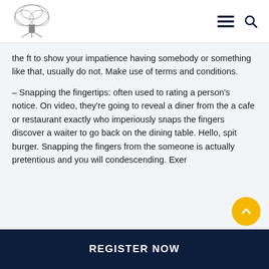Pensacola website header with logo, hamburger menu, and search icon
the ft to show your impatience having somebody or something like that, usually do not. Make use of terms and conditions.
– Snapping the fingertips: often used to rating a person's notice. On video, they're going to reveal a diner from the a cafe or restaurant exactly who imperiously snaps the fingers discover a waiter to go back on the dining table. Hello, spit burger. Snapping the fingers from the someone is actually pretentious and you will condescending. Exer…
REGISTER NOW